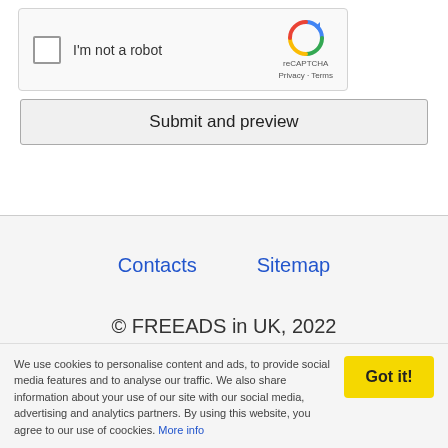[Figure (screenshot): reCAPTCHA widget with checkbox labeled 'I'm not a robot' and reCAPTCHA logo with Privacy and Terms links]
Submit and preview
Contacts   Sitemap
© FREEADS in UK, 2022
We use cookies to personalise content and ads, to provide social media features and to analyse our traffic. We also share information about your use of our site with our social media, advertising and analytics partners. By using this website, you agree to our use of coockies. More info